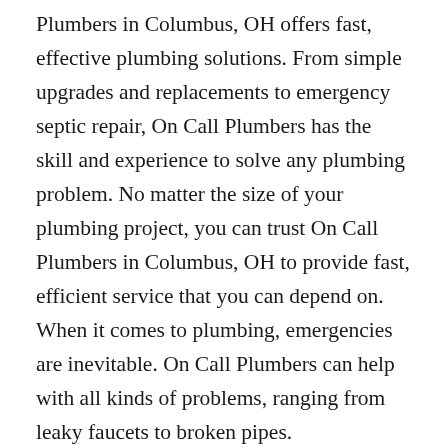Plumbers in Columbus, OH offers fast, effective plumbing solutions. From simple upgrades and replacements to emergency septic repair, On Call Plumbers has the skill and experience to solve any plumbing problem. No matter the size of your plumbing project, you can trust On Call Plumbers in Columbus, OH to provide fast, efficient service that you can depend on. When it comes to plumbing, emergencies are inevitable. On Call Plumbers can help with all kinds of problems, ranging from leaky faucets to broken pipes.
Calhoun Plumbing
A plumbing emergency can come in many forms, and if